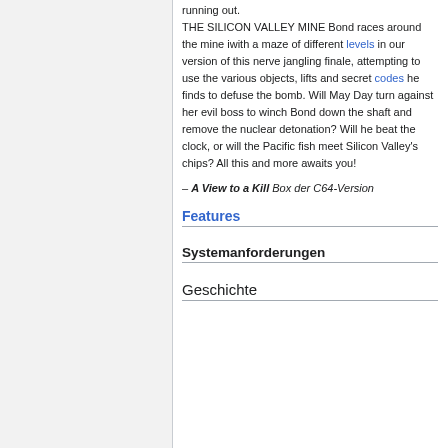running out. THE SILICON VALLEY MINE Bond races around the mine iwith a maze of different levels in our version of this nerve jangling finale, attempting to use the various objects, lifts and secret codes he finds to defuse the bomb. Will May Day turn against her evil boss to winch Bond down the shaft and remove the nuclear detonation? Will he beat the clock, or will the Pacific fish meet Silicon Valley's chips? All this and more awaits you!
– A View to a Kill Box der C64-Version
Features
Systemanforderungen
Geschichte